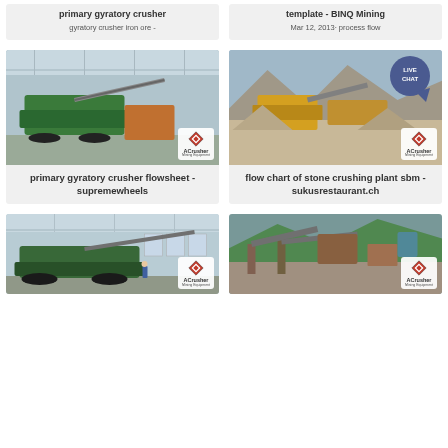primary gyratory crusher
gyratory crusher iron ore -
template - BINQ Mining
Mar 12, 2013· process flow
[Figure (photo): Indoor factory/warehouse with green and orange mobile crushing equipment on concrete floor]
primary gyratory crusher flowsheet - supremewheels
[Figure (photo): Outdoor mining/quarry site with yellow crushing equipment and gravel piles, mountains in background. Live Chat bubble overlay.]
flow chart of stone crushing plant sbm - sukusrestaurant.ch
[Figure (photo): Indoor warehouse with large green tracked mobile crusher, workers visible]
[Figure (photo): Outdoor industrial crushing plant with conveyors and equipment, green hills in background]